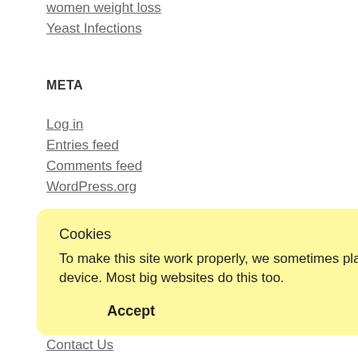women weight loss
Yeast Infections
META
Log in
Entries feed
Comments feed
WordPress.org
PAGES
Cookies
To make this site work properly, we sometimes place small data files called cookies on your device. Most big websites do this too.
Accept    Read more
Contact Us